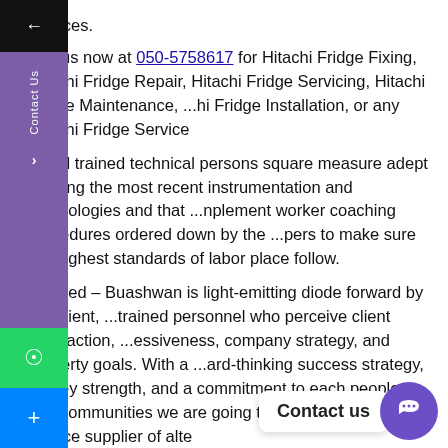services.
Call us now at 050-5758617 for Hitachi Fridge Fixing, Hitachi Fridge Repair, Hitachi Fridge Servicing, Hitachi Fridge Maintenance, ...hi Fridge Installation, or any Hitachi Fridge Service
well trained technical persons square measure adept in ...ling the most recent instrumentation and technologies and that ...nplement worker coaching procedures ordered down by the ...pers to make sure the highest standards of labor place follow.
...aveed – Buashwan is light-emitting diode forward by proficient, ...trained personnel who perceive client satisfaction, ...essiveness, company strategy, and property goals. With a ...ard-thinking success strategy, money strength, and a commitment to each people and communities we are going to still be the popular service supplier of alte
Call us now at 050-5758617 for Hitachi Fridge Fixing, Hitachi